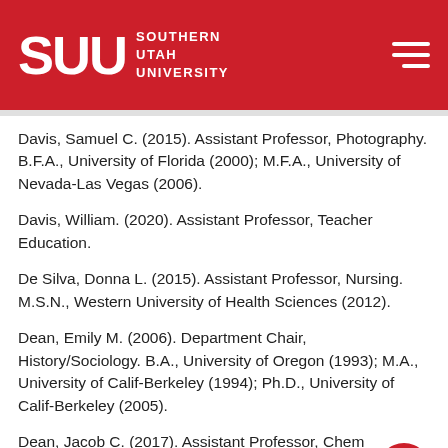SUU SOUTHERN UTAH UNIVERSITY
Davis, Samuel C. (2015). Assistant Professor, Photography. B.F.A., University of Florida (2000); M.F.A., University of Nevada-Las Vegas (2006).
Davis, William. (2020). Assistant Professor, Teacher Education.
De Silva, Donna L. (2015). Assistant Professor, Nursing. M.S.N., Western University of Health Sciences (2012).
Dean, Emily M. (2006). Department Chair, History/Sociology. B.A., University of Oregon (1993); M.A., University of Calif-Berkeley (1994); Ph.D., University of Calif-Berkeley (2005).
Dean, Jacob C. (2017). Assistant Professor, Chemistry. B.S., Texas A&M University-College S (2009); Ph.D., Purdue University (2014).